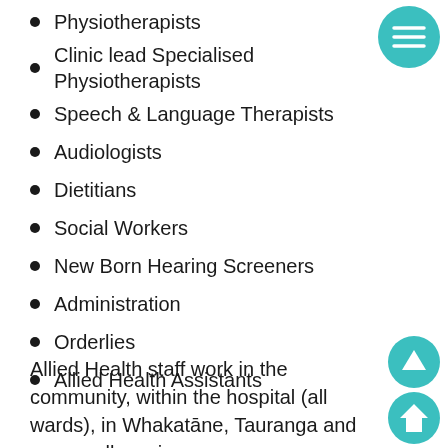Physiotherapists
Clinic lead Specialised Physiotherapists
Speech & Language Therapists
Audiologists
Dietitians
Social Workers
New Born Hearing Screeners
Administration
Orderlies
Allied Health Assistants
Allied Health staff work in the community, within the hospital (all wards), in Whakatāne, Tauranga and across all services.